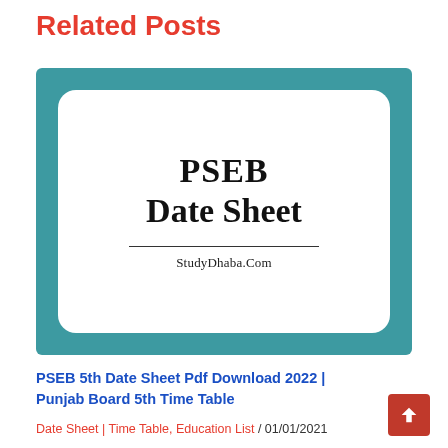Related Posts
[Figure (illustration): PSEB Date Sheet thumbnail image with teal border and white rounded inner card showing 'PSEB Date Sheet' text and StudyDhaba.Com branding]
PSEB 5th Date Sheet Pdf Download 2022 | Punjab Board 5th Time Table
Date Sheet | Time Table, Education List / 01/01/2021